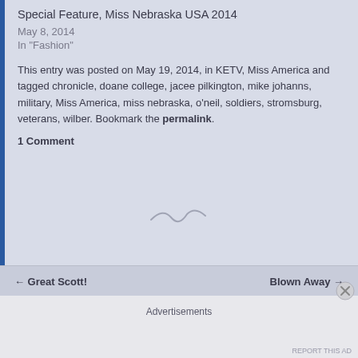Special Feature, Miss Nebraska USA 2014
May 8, 2014
In "Fashion"
This entry was posted on May 19, 2014, in KETV, Miss America and tagged chronicle, doane college, jacee pilkington, mike johanns, military, Miss America, miss nebraska, o'neil, soldiers, stromsburg, veterans, wilber. Bookmark the permalink.
1 Comment
← Great Scott!
Blown Away →
Advertisements